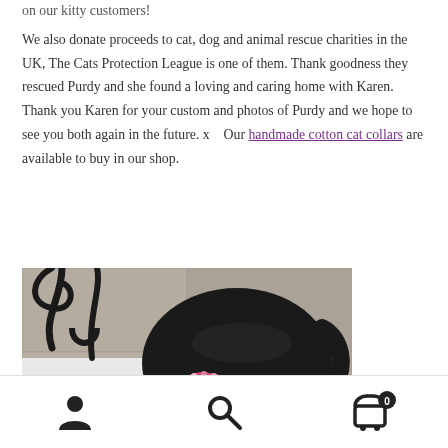on our kitty customers!
We also donate proceeds to cat, dog and animal rescue charities in the UK, The Cats Protection League is one of them. Thank goodness they rescued Purdy and she found a loving and caring home with Karen.  Thank you Karen for your custom and photos of Purdy and we hope to see you both again in the future. x    Our handmade cotton cat collars are available to buy in our shop.
[Figure (photo): Black and white cat (Purdy) curled up on a white surface outdoors, wearing a pink floral collar, with a black metal chair/table frame visible in the background on a stone patio.]
Navigation footer with user account icon, search icon, and shopping cart icon with badge showing 0